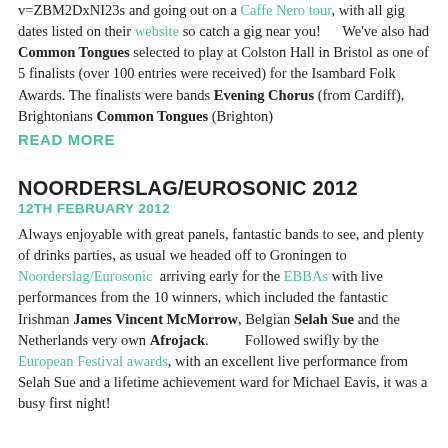v=ZBM2DxNI23s and going out on a Caffe Nero tour, with all gig dates listed on their website so catch a gig near you!      We've also had Common Tongues selected to play at Colston Hall in Bristol as one of 5 finalists (over 100 entries were received) for the Isambard Folk Awards. The finalists were bands Evening Chorus (from Cardiff), Brightonians Common Tongues (Brighton)
READ MORE
NOORDERSLAG/EUROSONIC 2012
12TH FEBRUARY 2012
Always enjoyable with great panels, fantastic bands to see, and plenty of drinks parties, as usual we headed off to Groningen to Noorderslag/Eurosonic  arriving early for the EBBAs with live performances from the 10 winners, which included the fantastic Irishman James Vincent McMorrow, Belgian Selah Sue and the Netherlands very own Afrojack.         Followed swifly by the European Festival awards, with an excellent live performance from Selah Sue and a lifetime achievement ward for Michael Eavis, it was a busy first night!